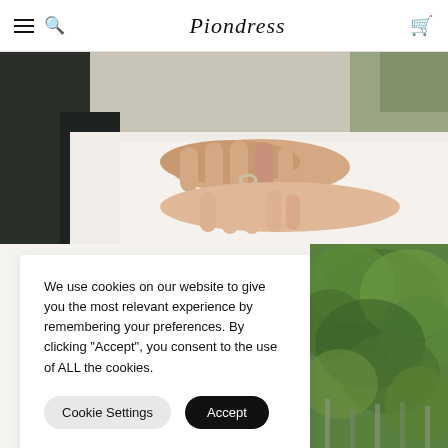Piondress
[Figure (photo): Close-up of a couple embracing, showing hands with a wedding ring against white dress fabric and dark suit jacket]
[Figure (photo): Green tree foliage background on the right side]
We use cookies on our website to give you the most relevant experience by remembering your preferences. By clicking "Accept", you consent to the use of ALL the cookies.
Cookie Settings | Accept